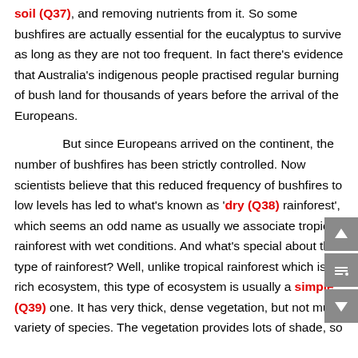soil (Q37), and removing nutrients from it. So some bushfires are actually essential for the eucalyptus to survive as long as they are not too frequent. In fact there's evidence that Australia's indigenous people practised regular burning of bush land for thousands of years before the arrival of the Europeans.
But since Europeans arrived on the continent, the number of bushfires has been strictly controlled. Now scientists believe that this reduced frequency of bushfires to low levels has led to what's known as 'dry (Q38) rainforest', which seems an odd name as usually we associate tropical rainforest with wet conditions. And what's special about this type of rainforest? Well, unlike tropical rainforest which is a rich ecosystem, this type of ecosystem is usually a simple (Q39) one. It has very thick, dense vegetation, but not much variety of species. The vegetation provides lots of shade, so